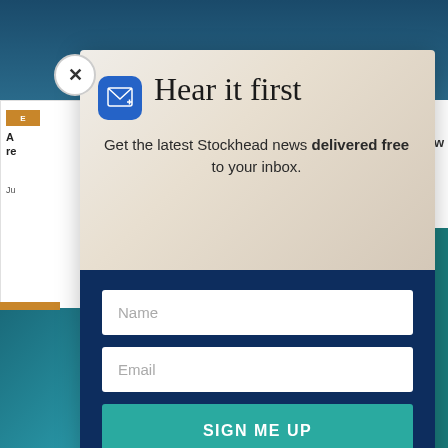[Figure (screenshot): Background webpage showing a news article page with teal/blue imagery and a partially visible article panel on the left side]
[Figure (other): Modal popup for Stockhead email newsletter signup. Contains mail icon, headline 'Hear it first', subtitle text, Name field, Email field, and SIGN ME UP button]
Hear it first
Get the latest Stockhead news delivered free to your inbox.
Name
Email
SIGN ME UP